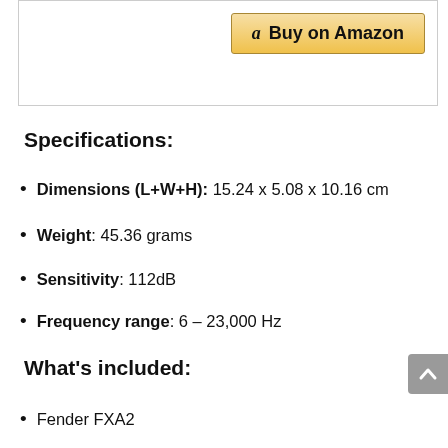[Figure (other): Buy on Amazon button with Amazon logo 'a' icon, golden/yellow gradient button]
Specifications:
Dimensions (L+W+H): 15.24 x 5.08 x 10.16 cm
Weight: 45.36 grams
Sensitivity: 112dB
Frequency range: 6 – 23,000 Hz
What's included:
Fender FXA2
[Figure (other): Score box showing 8.2 in red/orange square, with text: The headphones contain a solid carrying case, four ear canal]
The headphones contain a solid carrying case, four ear canal